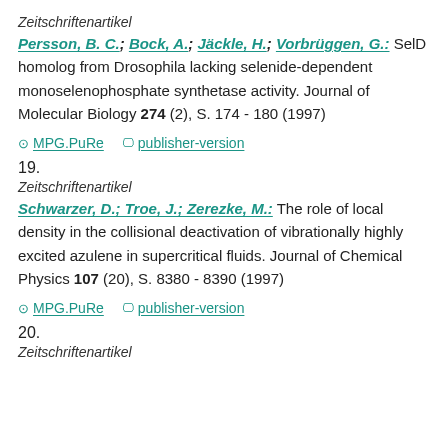Zeitschriftenartikel
Persson, B. C.; Bock, A.; Jäckle, H.; Vorbrüggen, G.: SelD homolog from Drosophila lacking selenide-dependent monoselenophosphate synthetase activity. Journal of Molecular Biology 274 (2), S. 174 - 180 (1997)
MPG.PuRe  publisher-version
19.
Zeitschriftenartikel
Schwarzer, D.; Troe, J.; Zerezke, M.: The role of local density in the collisional deactivation of vibrationally highly excited azulene in supercritical fluids. Journal of Chemical Physics 107 (20), S. 8380 - 8390 (1997)
MPG.PuRe  publisher-version
20.
Zeitschriftenartikel